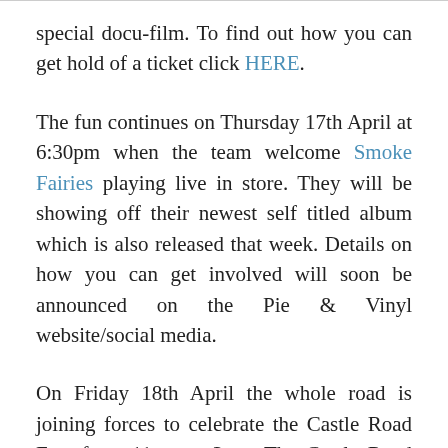special docu-film. To find out how you can get hold of a ticket click HERE.
The fun continues on Thursday 17th April at 6:30pm when the team welcome Smoke Fairies playing live in store. They will be showing off their newest self titled album which is also released that week. Details on how you can get involved will soon be announced on the Pie & Vinyl website/social media.
On Friday 18th April the whole road is joining forces to celebrate the Castle Road Fete from 11am to 3pm. The Castle Road Fete will be celebrating one of Southsea's finest locations and all that it has to offer. Stalls and market traders will be out in force along